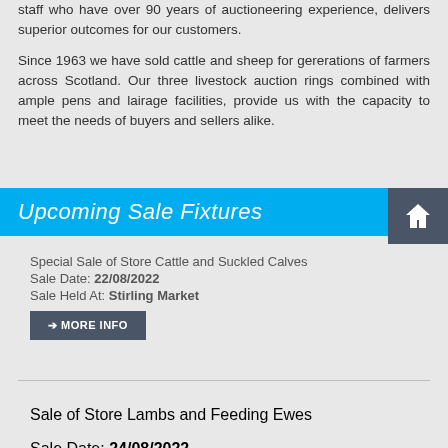staff who have over 90 years of auctioneering experience, delivers superior outcomes for our customers.
Since 1963 we have sold cattle and sheep for gererations of farmers across Scotland. Our three livestock auction rings combined with ample pens and lairage facilities, provide us with the capacity to meet the needs of buyers and sellers alike.
Upcoming Sale Fixtures
Special Sale of Store Cattle and Suckled Calves
Sale Date: 22/08/2022
Sale Held At: Stirling Market
MORE INFO
Sale of Store Lambs and Feeding Ewes
Sale Date: 24/08/2022
Sale Held At: Stirling Market